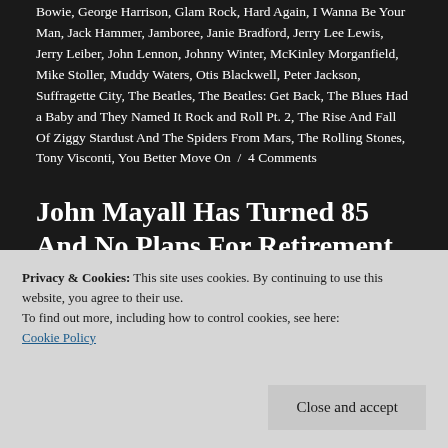Bowie, George Harrison, Glam Rock, Hard Again, I Wanna Be Your Man, Jack Hammer, Jamboree, Janie Bradford, Jerry Lee Lewis, Jerry Leiber, John Lennon, Johnny Winter, McKinley Morganfield, Mike Stoller, Muddy Waters, Otis Blackwell, Peter Jackson, Suffragette City, The Beatles, The Beatles: Get Back, The Blues Had a Baby and They Named It Rock and Roll Pt. 2, The Rise And Fall Of Ziggy Stardust And The Spiders From Mars, The Rolling Stones, Tony Visconti, You Better Move On / 4 Comments
John Mayall Has Turned 85 And No Plans For Retirement After More
Privacy & Cookies: This site uses cookies. By continuing to use this website, you agree to their use.
To find out more, including how to control cookies, see here:
Cookie Policy